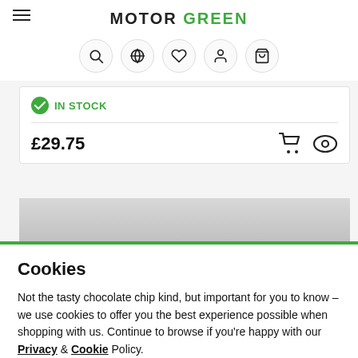MOTOR GREEN
IN STOCK
£29.75
Cookies
Not the tasty chocolate chip kind, but important for you to know - we use cookies to offer you the best experience possible when shopping with us. Continue to browse if you're happy with our Privacy & Cookie Policy.
CONTINUE